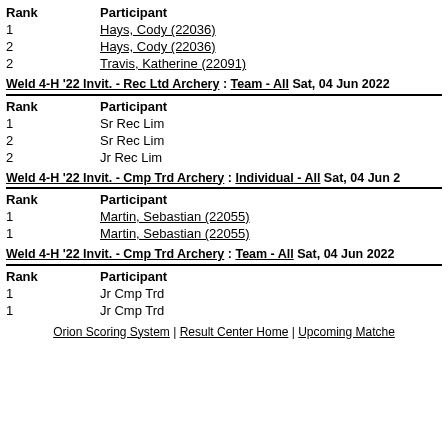| Rank | Participant |
| --- | --- |
| 1 | Hays, Cody (22036) |
| 2 | Hays, Cody (22036) |
| 2 | Travis, Katherine (22091) |
Weld 4-H '22 Invit. - Rec Ltd Archery : Team - All Sat, 04 Jun 2022
| Rank | Participant |
| --- | --- |
| 1 | Sr Rec Lim |
| 2 | Sr Rec Lim |
| 2 | Jr Rec Lim |
Weld 4-H '22 Invit. - Cmp Trd Archery : Individual - All Sat, 04 Jun 2
| Rank | Participant |
| --- | --- |
| 1 | Martin, Sebastian (22055) |
| 1 | Martin, Sebastian (22055) |
Weld 4-H '22 Invit. - Cmp Trd Archery : Team - All Sat, 04 Jun 2022
| Rank | Participant |
| --- | --- |
| 1 | Jr Cmp Trd |
| 1 | Jr Cmp Trd |
Orion Scoring System | Result Center Home | Upcoming Matches